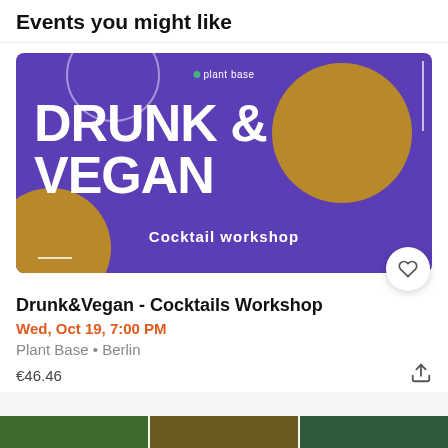Events you might like
[Figure (illustration): Event banner for Drunk & Vegan Cocktail Workshop. Purple background with gold/tan circular shapes, white text reading 'DRUNK & VEGAN' in large bold letters and 'Cocktail workshop' below. Plant base logo at top center.]
Drunk&Vegan - Cocktails Workshop
Wed, Oct 19, 7:00 PM
Plant Base • Berlin
€46.46